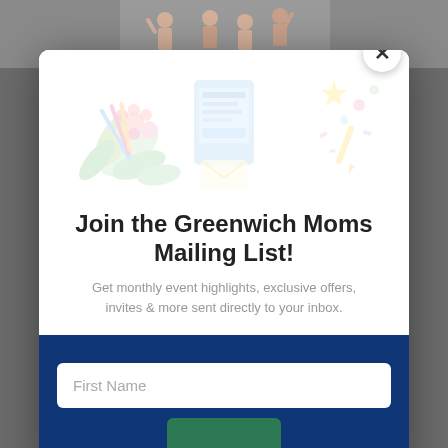[Figure (illustration): Website popup modal with decorative illustration at top (colorful flowers, newsletter/tablet graphic, confetti), close button (X) in top right corner, white background with title and subtitle text, and dark navy blue bottom section with a First Name input field and partially visible green button.]
Join the Greenwich Moms Mailing List!
Get monthly event highlights, exclusive offers, invites & more sent directly to your inbox.